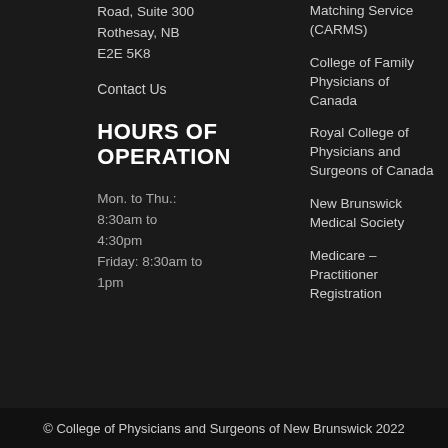Road, Suite 300
Rothesay, NB
E2E 5K8
Contact Us
HOURS OF OPERATION
Mon. to Thu.: 8:30am to 4:30pm
Friday: 8:30am to 1pm
Matching Service (CARMS)
College of Family Physicians of Canada
Royal College of Physicians and Surgeons of Canada
New Brunswick Medical Society
Medicare – Practitioner Registration
© College of Physicians and Surgeons of New Brunswick 2022